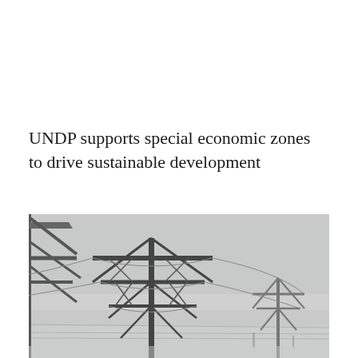UNDP supports special economic zones to drive sustainable development
[Figure (photo): Black and white photograph of electrical transmission towers / power line pylons against a light grey overcast sky, taken from a low angle looking up]